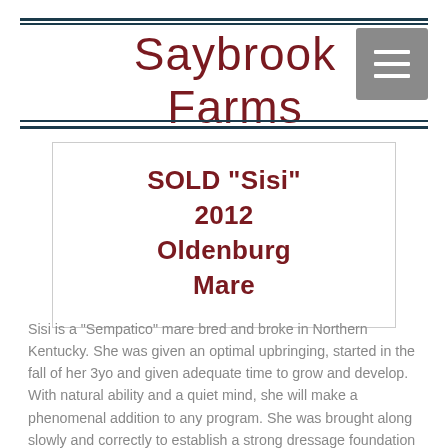Saybrook Farms
SOLD "Sisi"
2012
Oldenburg
Mare
Sisi is a "Sempatico" mare bred and broke in Northern Kentucky. She was given an optimal upbringing, started in the fall of her 3yo and given adequate time to grow and develop. With natural ability and a quiet mind, she will make a phenomenal addition to any program. She was brought along slowly and correctly to establish a strong dressage foundation and solid